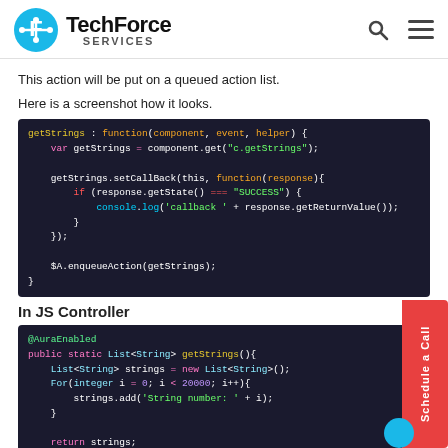TechForce SERVICES
This action will be put on a queued action list.
Here is a screenshot how it looks.
[Figure (screenshot): Dark-themed code editor showing JavaScript getStrings function with enqueueAction call]
In JS Controller
[Figure (screenshot): Dark-themed code editor showing Apex @AuraEnabled public static List<String> getStrings() method]